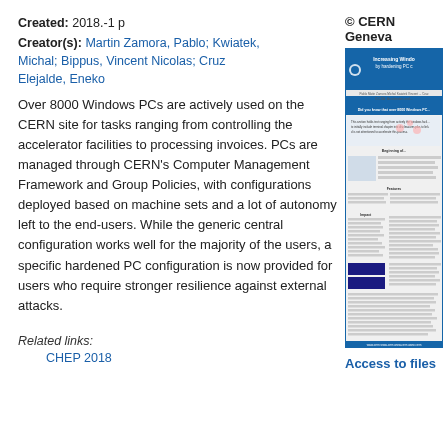Created: 2018.-1 p
Creator(s): Martin Zamora, Pablo; Kwiatek, Michal; Bippus, Vincent Nicolas; Cruz Elejalde, Eneko
Over 8000 Windows PCs are actively used on the CERN site for tasks ranging from controlling the accelerator facilities to processing invoices. PCs are managed through CERN's Computer Management Framework and Group Policies, with configurations deployed based on machine sets and a lot of autonomy left to the end-users. While the generic central configuration works well for the majority of the users, a specific hardened PC configuration is now provided for users who require stronger resilience against external attacks.
[Figure (other): Thumbnail of a CERN poster about increasing Windows security by hardening PC configurations]
© CERN Geneva
Access to files
Related links:
CHEP 2018